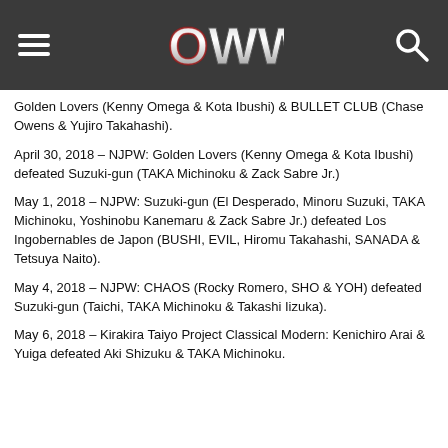OWW logo, hamburger menu, search icon
Golden Lovers (Kenny Omega & Kota Ibushi) & BULLET CLUB (Chase Owens & Yujiro Takahashi).
April 30, 2018 – NJPW: Golden Lovers (Kenny Omega & Kota Ibushi) defeated Suzuki-gun (TAKA Michinoku & Zack Sabre Jr.)
May 1, 2018 – NJPW: Suzuki-gun (El Desperado, Minoru Suzuki, TAKA Michinoku, Yoshinobu Kanemaru & Zack Sabre Jr.) defeated Los Ingobernables de Japon (BUSHI, EVIL, Hiromu Takahashi, SANADA & Tetsuya Naito).
May 4, 2018 – NJPW: CHAOS (Rocky Romero, SHO & YOH) defeated Suzuki-gun (Taichi, TAKA Michinoku & Takashi Iizuka).
May 6, 2018 – Kirakira Taiyo Project Classical Modern: Kenichiro Arai & Yuiga defeated Aki Shizuku & TAKA Michinoku.